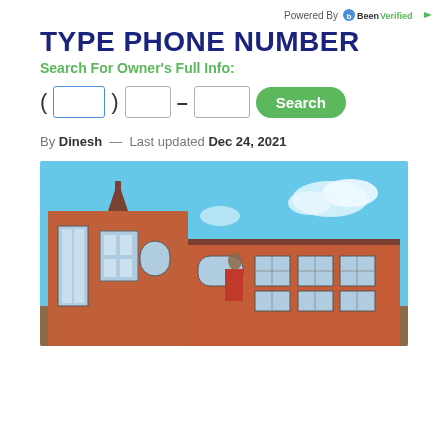Powered By BeenVerified
TYPE PHONE NUMBER
Search For Owner's Full Info:
[Figure (screenshot): Phone number input form with area code box, three-digit box, dash, four-digit box, and green Search button]
By Dinesh — Last updated Dec 24, 2021
[Figure (photo): Photograph of a red brick building with large windows under a blue sky]